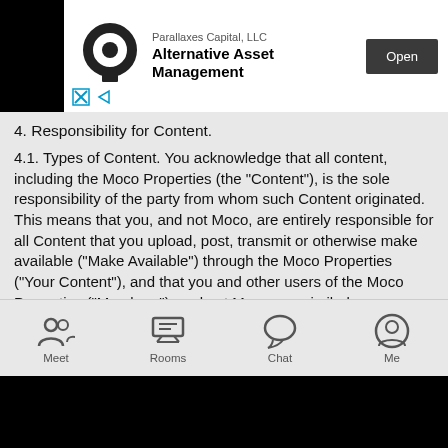[Figure (screenshot): Advertisement banner for Parallaxes Capital, LLC - Alternative Asset Management with Open button]
4. Responsibility for Content.
4.1. Types of Content. You acknowledge that all content, including the Moco Properties (the "Content"), is the sole responsibility of the party from whom such Content originated. This means that you, and not Moco, are entirely responsible for all Content that you upload, post, transmit or otherwise make available ("Make Available") through the Moco Properties ("Your Content"), and that you and other users of the Moco Properties ("Members"), and not Moco, are similarly responsible for all Content they Make Available through the Moco Properties ("Member Content").
4.2. No Obligation to Pre-Screen Content. You acknowledge that Moco has no obligation to pre-screen Content (including, but not limited to, Member Content), although Moco reserves the right in its sole discretion to pre-screen, refuse or remove any Content. By entering into the Terms, you hereby provide your irrevocable consent to such monitoring. You acknowledge and agree that you have no
[Figure (screenshot): Mobile app navigation bar with Meet, Rooms, Chat, Me icons]